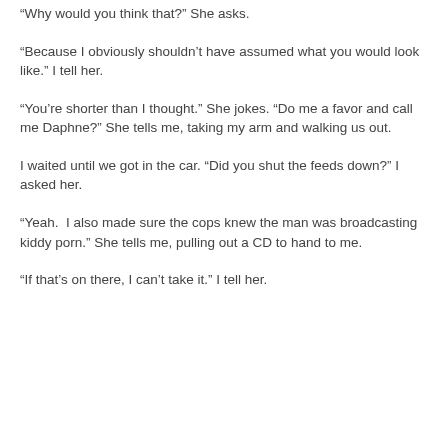“Why would you think that?” She asks.
“Because I obviously shouldn’t have assumed what you would look like.” I tell her.
“You’re shorter than I thought.” She jokes. “Do me a favor and call me Daphne?” She tells me, taking my arm and walking us out.
I waited until we got in the car. “Did you shut the feeds down?” I asked her.
“Yeah. I also made sure the cops knew the man was broadcasting kiddy porn.” She tells me, pulling out a CD to hand to me.
“If that’s on there, I can’t take it.” I tell her.